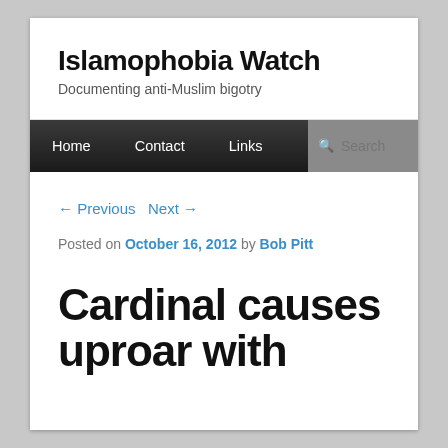Islamophobia Watch
Documenting anti-Muslim bigotry
Home  Contact  Links  Search
← Previous  Next →
Posted on October 16, 2012 by Bob Pitt
Cardinal causes uproar with